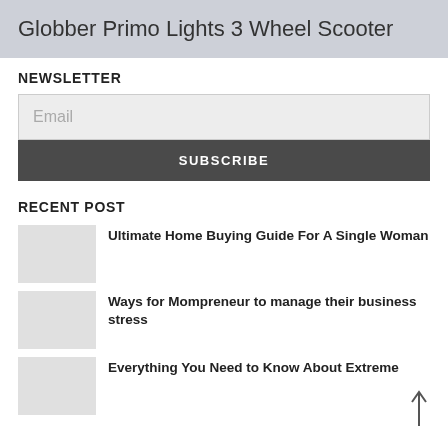Globber Primo Lights 3 Wheel Scooter
NEWSLETTER
Email
SUBSCRIBE
RECENT POST
Ultimate Home Buying Guide For A Single Woman
Ways for Mompreneur to manage their business stress
Everything You Need to Know About Extreme